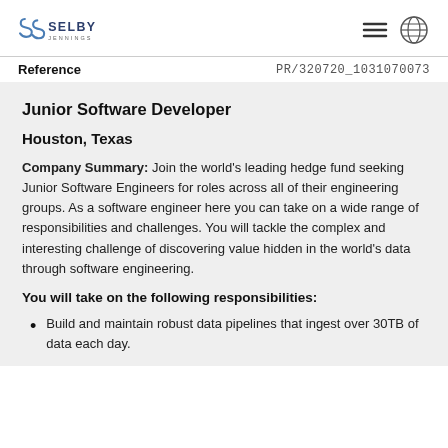Selby Jennings
Reference    PR/320720_1031070073
Junior Software Developer
Houston, Texas
Company Summary: Join the world's leading hedge fund seeking Junior Software Engineers for roles across all of their engineering groups. As a software engineer here you can take on a wide range of responsibilities and challenges. You will tackle the complex and interesting challenge of discovering value hidden in the world's data through software engineering.
You will take on the following responsibilities:
Build and maintain robust data pipelines that ingest over 30TB of data each day.